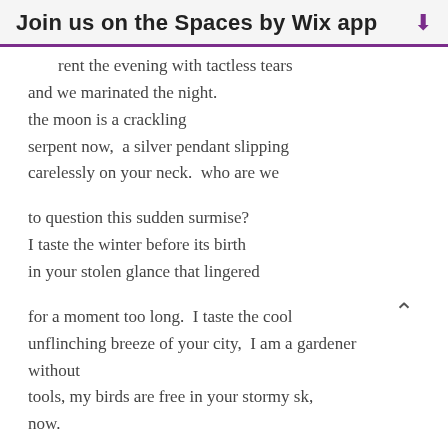Join us on the Spaces by Wix app
rent the evening with tactless tears
and we marinated the night.
the moon is a crackling
serpent now,  a silver pendant slipping
carelessly on your neck.  who are we

to question this sudden surmise?
I taste the winter before its birth
in your stolen glance that lingered

for a moment too long.  I taste the cool
unflinching breeze of your city,  I am a gardener
without
tools, my birds are free in your stormy sk,
now.

even the rain does not know what it is doing
[Figure (illustration): Scroll-up arrow icon (caret) on the right side of the page]